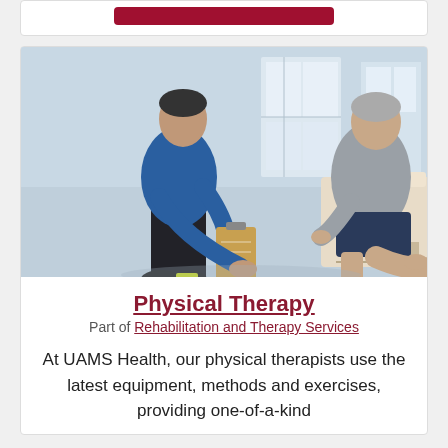[Figure (photo): Red button/banner at top of a white card]
[Figure (photo): A physical therapist in a blue shirt holding a clipboard examines the leg of an older man in a gray shirt and navy shorts sitting on a treatment table, in a bright gym/clinic setting.]
Physical Therapy
Part of Rehabilitation and Therapy Services
At UAMS Health, our physical therapists use the latest equipment, methods and exercises, providing one-of-a-kind